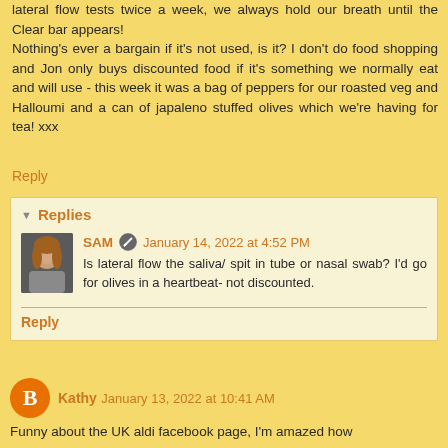lateral flow tests twice a week, we always hold our breath until the Clear bar appears! Nothing's ever a bargain if it's not used, is it? I don't do food shopping and Jon only buys discounted food if it's something we normally eat and will use - this week it was a bag of peppers for our roasted veg and Halloumi and a can of japaleno stuffed olives which we're having for tea! xxx
Reply
Replies
SAM  January 14, 2022 at 4:52 PM
Is lateral flow the saliva/ spit in tube or nasal swab? I'd go for olives in a heartbeat- not discounted.
Reply
Kathy  January 13, 2022 at 10:41 AM
Funny about the UK aldi facebook page, I'm amazed how